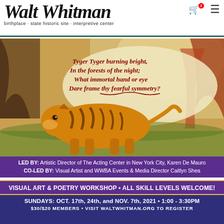Walt Whitman birthplace · state historic site · interpretive center
[Figure (illustration): William Blake's 'The Tyger' illustration showing a tiger walking with poem text 'Tyger Tyger burning bright, In the forests of the night; What immortal hand or eye Dare frame thy fearful symmetry?' written above in red script on a warm orange/ochre background with trees.]
LED BY: Artistic Director of The Acting Center in New York City, Karen De Mauro
CO-LED BY: Visual Artist and WWBA Events & Media Director Caitlyn Shea
VISUAL ART & POETRY WORKSHOP • ALL SKILL LEVELS WELCOME!
SUNDAYS: OCT. 17th, 24th, and NOV. 7th, 2021 • 1:00 - 3:30PM
$30/$20 MEMBERS • VISIT WALTWHITMAN.ORG TO REGISTER